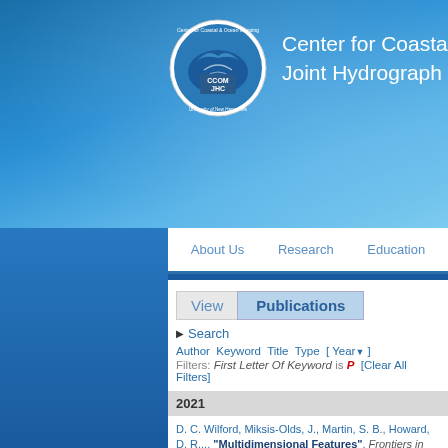[Figure (screenshot): CCOM JHC circular logo with ocean mapping imagery]
Center for Coastal & Ocean Mapping / Joint Hydrographic Center
About Us  Research  Education
View  Publications
▶ Search
Author Keyword Title Type [ Year ▼ ]
Filters: First Letter Of Keyword is P  [Clear All Filters]
2021
D. C. Wilford, Miksis-Olds, J., Martin, S. B., Howard, D. R., ... "Multidimensional Features", Frontiers in Marine Scie...
K. Jerram, Johnson, P., Ferrini, V. L., and Smith, M., "R/V...
2020
G. Masetti, Smith, M., Mayer, L. A., and Kelley, J. G., "A...